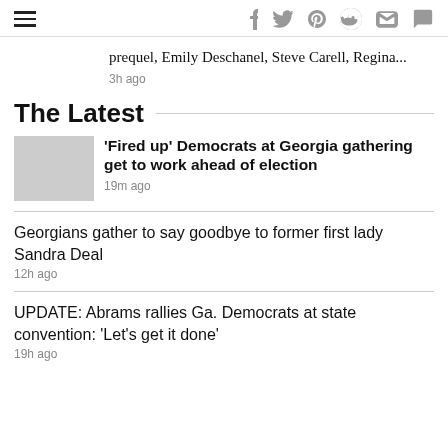[hamburger menu] [social icons: f, twitter, pinterest, reddit, mail, comment]
prequel, Emily Deschanel, Steve Carell, Regina...
3h ago
The Latest
'Fired up' Democrats at Georgia gathering get to work ahead of election
19m ago
Georgians gather to say goodbye to former first lady Sandra Deal
12h ago
UPDATE: Abrams rallies Ga. Democrats at state convention: 'Let's get it done'
19h ago